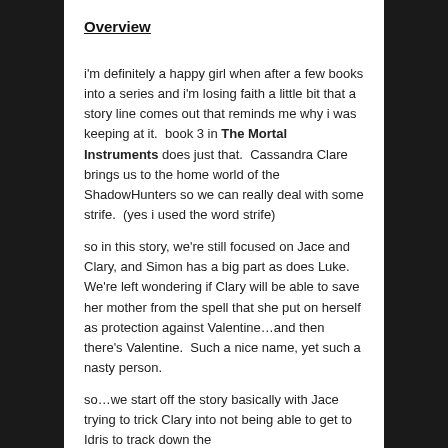Overview
i'm definitely a happy girl when after a few books into a series and i'm losing faith a little bit that a story line comes out that reminds me why i was keeping at it.  book 3 in The Mortal Instruments does just that.  Cassandra Clare brings us to the home world of the ShadowHunters so we can really deal with some strife.  (yes i used the word strife)
so in this story, we're still focused on Jace and Clary, and Simon has a big part as does Luke.  We're left wondering if Clary will be able to save her mother from the spell that she put on herself as protection against Valentine…and then there's Valentine.  Such a nice name, yet such a nasty person.
so…we start off the story basically with Jace trying to trick Clary into not being able to get to Idris to track down the